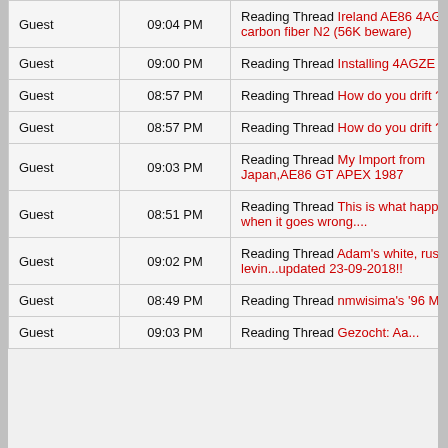|  |  |  |
| --- | --- | --- |
| Guest | 09:04 PM | Reading Thread Ireland AE86 4AGZE carbon fiber N2 (56K beware) |
| Guest | 09:00 PM | Reading Thread Installing 4AGZE in AE86 |
| Guest | 08:57 PM | Reading Thread How do you drift ? |
| Guest | 08:57 PM | Reading Thread How do you drift ? |
| Guest | 09:03 PM | Reading Thread My Import from Japan,AE86 GT APEX 1987 |
| Guest | 08:51 PM | Reading Thread This is what happens when it goes wrong.... |
| Guest | 09:02 PM | Reading Thread Adam's white, rusty levin...updated 23-09-2018!! |
| Guest | 08:49 PM | Reading Thread nmwisima's '96 Miata |
| Guest | 09:03 PM | Reading Thread Gezocht: Aa... |